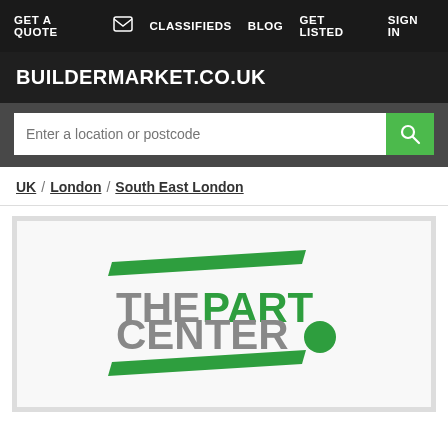GET A QUOTE  CLASSIFIEDS  BLOG  GET LISTED  SIGN IN
BUILDERMARKET.CO.UK
Enter a location or postcode
UK / London / South East London
[Figure (logo): The Part Center logo: two green horizontal parallel lines with 'THE PART' in grey and green text and 'CENTER' with a green circle dot]